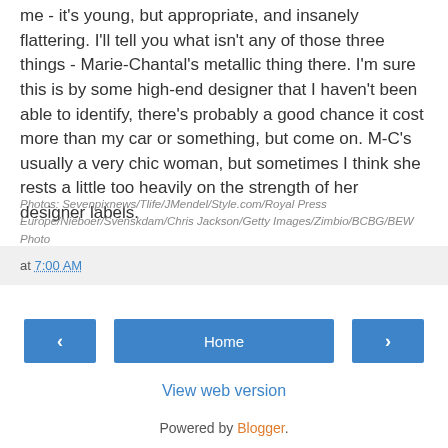me - it's young, but appropriate, and insanely flattering.  I'll tell you what isn't any of those three things - Marie-Chantal's metallic thing there.  I'm sure this is by some high-end designer that I haven't been able to identify, there's probably a good chance it cost more than my car or something, but come on.  M-C's usually a very chic woman, but sometimes I think she rests a little too heavily on the strength of her designer labels.
Photos: Sevenpixnews/Tlife/JMendel/Style.com/Royal Press Europe/Nieboer/Svenskdam/Chris Jackson/Getty Images/Zimbio/BCBG/BEW Photo
at 7:00 AM
Home
View web version
Powered by Blogger.